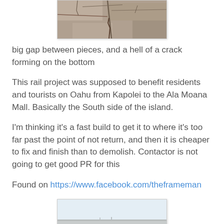[Figure (photo): Close-up photo of cracked concrete underside of a rail structure, showing a large gap between pieces and a crack forming on the bottom]
big gap between pieces, and a hell of a crack forming on the bottom
This rail project was supposed to benefit residents and tourists on Oahu from Kapolei to the Ala Moana Mall. Basically the South side of the island.
I'm thinking it's a fast build to get it to where it's too far past the point of not return, and then it is cheaper to fix and finish than to demolish. Contactor is not going to get good PR for this
Found on https://www.facebook.com/theframeman
[Figure (photo): Photo of an elevated rail structure or overpass from below, showing the concrete beams and columns]